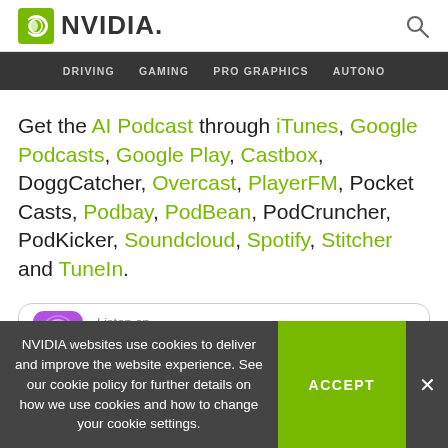NVIDIA
DRIVING   GAMING   PRO GRAPHICS   AUTONO
Get the AI Podcast through iTunes, Google Podcasts, Google Play, Castbox, DoggCatcher, Overcast, PlayerFM, Pocket Casts, Podbay, PodBean, PodCruncher, PodKicker, Soundcloud, Spotify, Stitcher and TuneIn.
[Figure (other): Apple Podcasts badge: purple podcast icon with 'Listen on Apple Podcasts' text]
NVIDIA websites use cookies to deliver and improve the website experience. See our cookie policy for further details on how we use cookies and how to change your cookie settings.